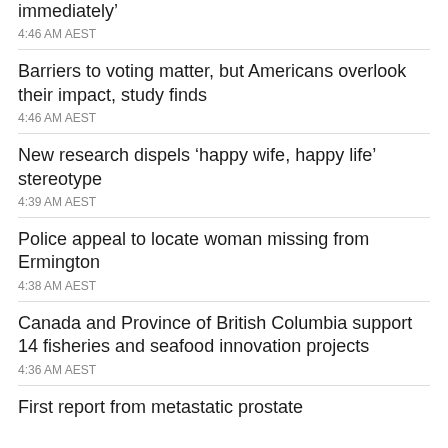immediately’
4:46 AM AEST
Barriers to voting matter, but Americans overlook their impact, study finds
4:46 AM AEST
New research dispels ‘happy wife, happy life’ stereotype
4:39 AM AEST
Police appeal to locate woman missing from Ermington
4:38 AM AEST
Canada and Province of British Columbia support 14 fisheries and seafood innovation projects
4:36 AM AEST
First report from metastatic prostate